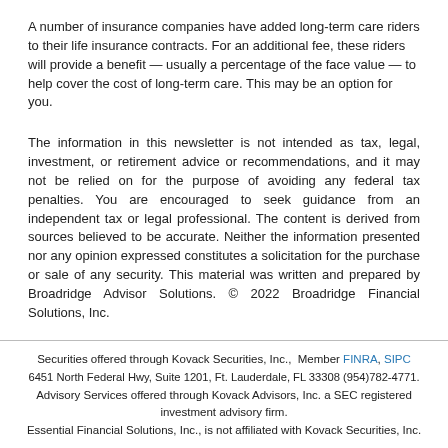A number of insurance companies have added long-term care riders to their life insurance contracts. For an additional fee, these riders will provide a benefit — usually a percentage of the face value — to help cover the cost of long-term care. This may be an option for you.
The information in this newsletter is not intended as tax, legal, investment, or retirement advice or recommendations, and it may not be relied on for the purpose of avoiding any federal tax penalties. You are encouraged to seek guidance from an independent tax or legal professional. The content is derived from sources believed to be accurate. Neither the information presented nor any opinion expressed constitutes a solicitation for the purchase or sale of any security. This material was written and prepared by Broadridge Advisor Solutions. © 2022 Broadridge Financial Solutions, Inc.
Securities offered through Kovack Securities, Inc.,  Member FINRA, SIPC
6451 North Federal Hwy, Suite 1201, Ft. Lauderdale, FL 33308 (954)782-4771.
Advisory Services offered through Kovack Advisors, Inc. a SEC registered investment advisory firm.
Essential Financial Solutions, Inc., is not affiliated with Kovack Securities, Inc.